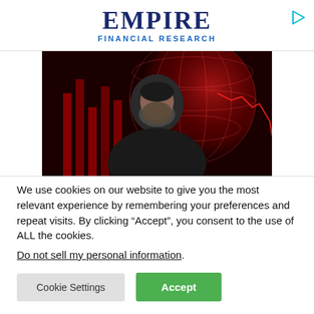EMPIRE FINANCIAL RESEARCH
[Figure (photo): A man with a beard in front of a red globe and stock chart background, resembling a financial video thumbnail]
We use cookies on our website to give you the most relevant experience by remembering your preferences and repeat visits. By clicking “Accept”, you consent to the use of ALL the cookies.
Do not sell my personal information.
Cookie Settings
Accept